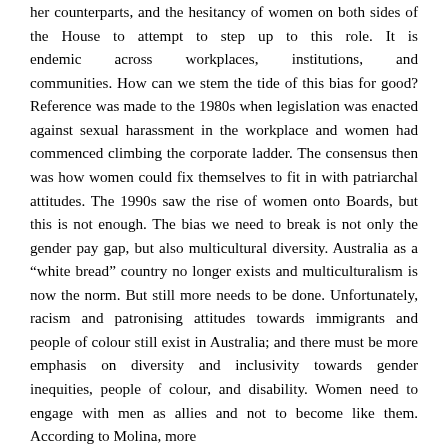her counterparts, and the hesitancy of women on both sides of the House to attempt to step up to this role. It is endemic across workplaces, institutions, and communities. How can we stem the tide of this bias for good? Reference was made to the 1980s when legislation was enacted against sexual harassment in the workplace and women had commenced climbing the corporate ladder. The consensus then was how women could fix themselves to fit in with patriarchal attitudes. The 1990s saw the rise of women onto Boards, but this is not enough. The bias we need to break is not only the gender pay gap, but also multicultural diversity. Australia as a “white bread” country no longer exists and multiculturalism is now the norm. But still more needs to be done. Unfortunately, racism and patronising attitudes towards immigrants and people of colour still exist in Australia; and there must be more emphasis on diversity and inclusivity towards gender inequities, people of colour, and disability. Women need to engage with men as allies and not to become like them. According to Molina, more